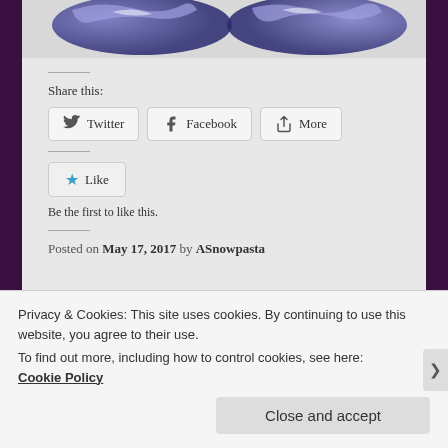[Figure (illustration): Decorative header image with blue/purple flame or wave design on dark background]
Share this:
Twitter  Facebook  More
Like
Be the first to like this.
Posted on May 17, 2017 by ASnowpasta
Privacy & Cookies: This site uses cookies. By continuing to use this website, you agree to their use.
To find out more, including how to control cookies, see here:
Cookie Policy
Close and accept